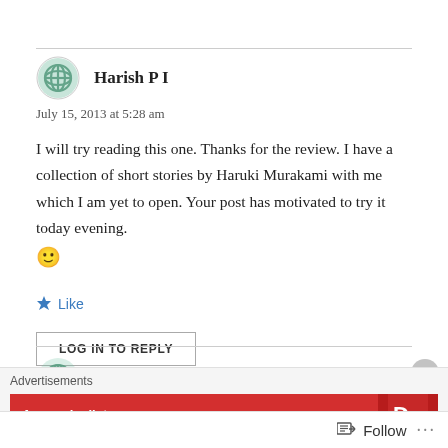Harish P I
July 15, 2013 at 5:28 am
I will try reading this one. Thanks for the review. I have a collection of short stories by Haruki Murakami with me which I am yet to open. Your post has motivated to try it today evening. 🙂
Like
LOG IN TO REPLY
Priya
Advertisements
An app by listeners
Follow